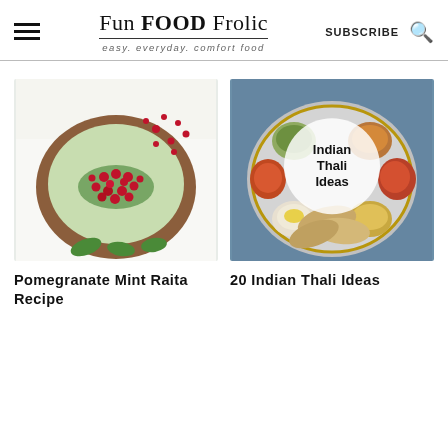Fun FOOD Frolic — easy. everyday. comfort food | SUBSCRIBE
[Figure (photo): A bowl of Pomegranate Mint Raita topped with pomegranate seeds and green herbs, in a brown clay bowl on a white background.]
Pomegranate Mint Raita Recipe
[Figure (photo): An Indian Thali plate with multiple small bowls of curries, dals, vegetables, chapati, and chutneys on a blue background, with a circular overlay text reading 'Indian Thali Ideas'.]
20 Indian Thali Ideas